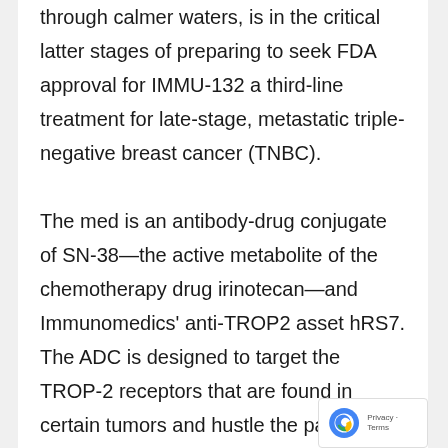through calmer waters, is in the critical latter stages of preparing to seek FDA approval for IMMU-132 a third-line treatment for late-stage, metastatic triple-negative breast cancer (TNBC).

The med is an antibody-drug conjugate of SN-38—the active metabolite of the chemotherapy drug irinotecan—and Immunomedics' anti-TROP2 asset hRS7. The ADC is designed to target the TROP-2 receptors that are found in certain tumors and hustle the payload into
[Figure (other): reCAPTCHA Privacy - Terms badge in bottom right corner]